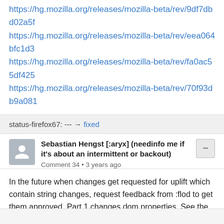https://hg.mozilla.org/releases/mozilla-beta/rev/9df7dbd02a5f
https://hg.mozilla.org/releases/mozilla-beta/rev/eea064bfc1d3
https://hg.mozilla.org/releases/mozilla-beta/rev/fa0ac55df425
https://hg.mozilla.org/releases/mozilla-beta/rev/70f93db9a081
status-firefox67: --- → fixed
Sebastian Hengst [:aryx] (needinfo me if it's about an intermittent or backout)
Comment 34 • 3 years ago
In the future when changes get requested for uplift which contain string changes, request feedback from :flod to get them approved. Part 1 changes dom.properties. See the "mozilla-beta" at https://wiki.mozilla.org/Tree_Rules#mozilla-beta